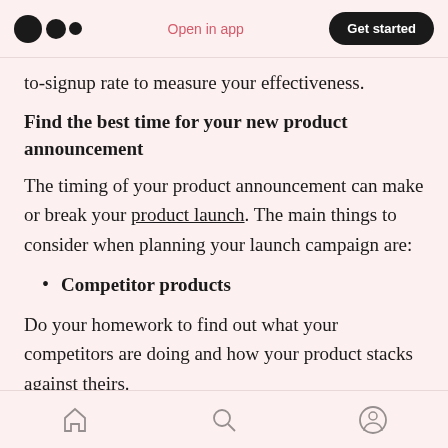Open in app | Get started
to-signup rate to measure your effectiveness.
Find the best time for your new product announcement
The timing of your product announcement can make or break your product launch. The main things to consider when planning your launch campaign are:
Competitor products
Do your homework to find out what your competitors are doing and how your product stacks against theirs.
home | search | profile